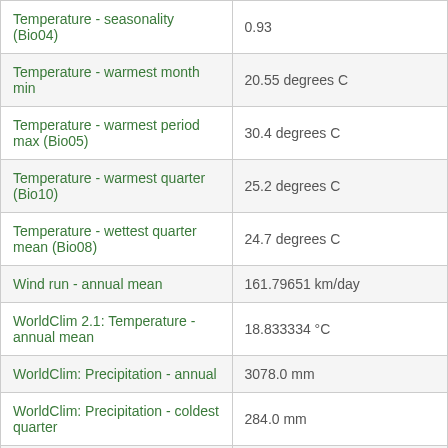| Parameter | Value |
| --- | --- |
| Temperature - seasonality (Bio04) | 0.93 |
| Temperature - warmest month min | 20.55 degrees C |
| Temperature - warmest period max (Bio05) | 30.4 degrees C |
| Temperature - warmest quarter (Bio10) | 25.2 degrees C |
| Temperature - wettest quarter mean (Bio08) | 24.7 degrees C |
| Wind run - annual mean | 161.79651 km/day |
| WorldClim 2.1: Temperature - annual mean | 18.833334 °C |
| WorldClim: Precipitation - annual | 3078.0 mm |
| WorldClim: Precipitation - coldest quarter | 284.0 mm |